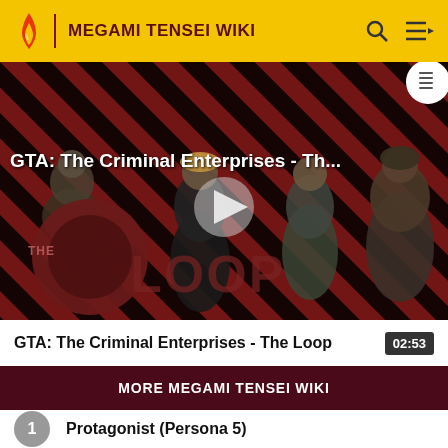MEGAMI TENSEI WIKI
[Figure (screenshot): Video thumbnail for GTA: The Criminal Enterprises - The Loop, showing game characters against a diagonal red and black striped background with THE LOOP logo overlay and a play button in the center.]
GTA: The Criminal Enterprises - Th...
GTA: The Criminal Enterprises - The Loop  02:53
MORE MEGAMI TENSEI WIKI
1  Protagonist (Persona 5)